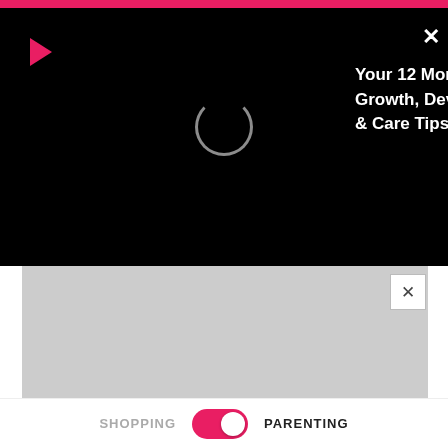[Figure (screenshot): Black video player popup overlay with pink play button icon top-left, loading spinner circle, bold white title text 'Your 12 Month Old Baby : Growth, Development, Activities & Care Tips', and white X close button top-right]
[Figure (screenshot): Gray advertisement placeholder area with X close button]
ADVERTISEMENT
You May Like
Sponsored Links by Taboola
[Figure (photo): Close-up photo of glittery red/pink gummy candy pieces held in a hand against dark background]
SHOPPING
PARENTING